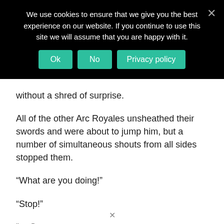We use cookies to ensure that we give you the best experience on our website. If you continue to use this site we will assume that you are happy with it.
without a shred of surprise.
All of the other Arc Royales unsheathed their swords and were about to jump him, but a number of simultaneous shouts from all sides stopped them.
“What are you doing!”
“Stop!”
“· · ·”